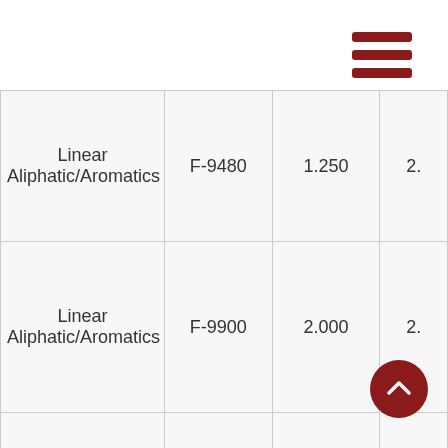[Figure (other): Hamburger menu icon with three dark red horizontal bars in the top right corner]
| Linear Aliphatic/Aromatics | F-9480 | 1.250 | 2. |
| Linear Aliphatic/Aromatics | F-9900 | 2.000 | 2. |
|  |  |  |  |